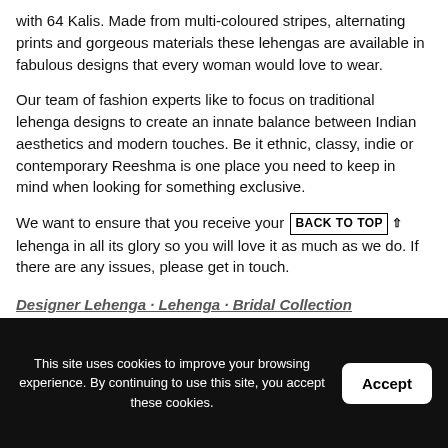with 64 Kalis. Made from multi-coloured stripes, alternating prints and gorgeous materials these lehengas are available in fabulous designs that every woman would love to wear.
Our team of fashion experts like to focus on traditional lehenga designs to create an innate balance between Indian aesthetics and modern touches. Be it ethnic, classy, indie or contemporary Reeshma is one place you need to keep in mind when looking for something exclusive.
We want to ensure that you receive your BACK TO TOP lehenga in all its glory so you will love it as much as we do. If there are any issues, please get in touch.
This site uses cookies to improve your browsing experience. By continuing to use this site, you accept these cookies.